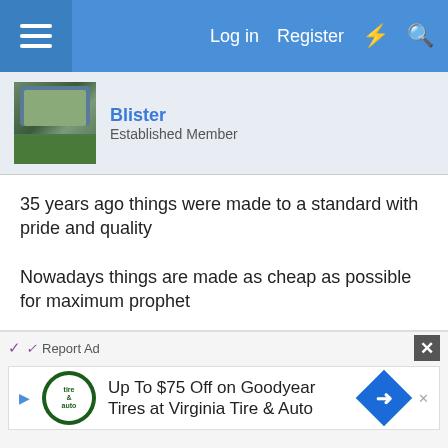Log in  Register
Blister
Established Member
35 years ago things were made to a standard with pride and quality

Nowadays things are made as cheap as possible for maximum prophet

I would have no problem buying the Imp and as its says in the advert
" Very Heavy "

unlike the lightweight saws now made #-o
Report Ad
Up To $75 Off on Goodyear Tires at Virginia Tire & Auto